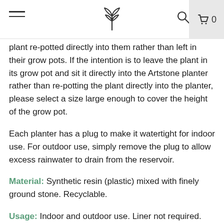Navigation header with hamburger menu, plant logo, search icon, and cart (0)
plant re-potted directly into them rather than left in their grow pots. If the intention is to leave the plant in its grow pot and sit it directly into the Artstone planter rather than re-potting the plant directly into the planter, please select a size large enough to cover the height of the grow pot.
Each planter has a plug to make it watertight for indoor use. For outdoor use, simply remove the plug to allow excess rainwater to drain from the reservoir.
Material: Synthetic resin (plastic) mixed with finely ground stone. Recyclable.
Usage: Indoor and outdoor use. Liner not required. Not suitable for use without the internal reservoir system.
Features: